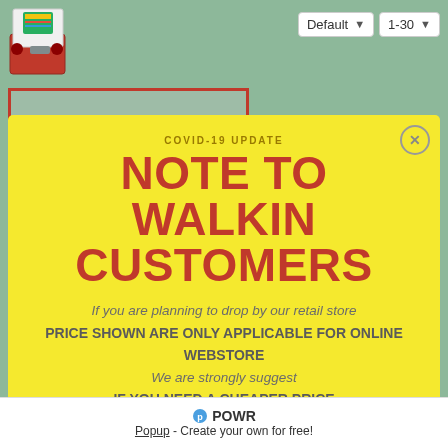[Figure (screenshot): Website header with Default dropdown and 1-30 dropdown on green background]
[Figure (screenshot): Game product thumbnail with red outline border]
COVID-19 UPDATE
NOTE TO WALKIN CUSTOMERS
If you are planning to drop by our retail store PRICE SHOWN ARE ONLY APPLICABLE FOR ONLINE WEBSTORE We are strongly suggest IF YOU NEED A CHEAPER PRICE you may place order directly at our online store
POWR
Popup - Create your own for free!